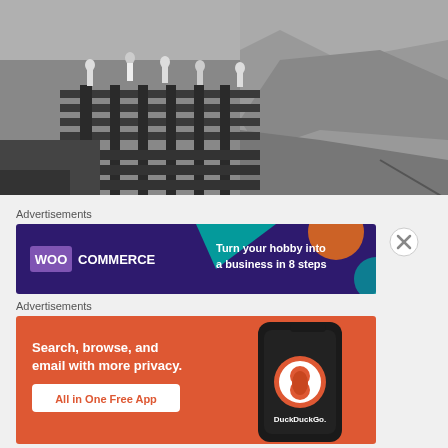[Figure (photo): Black and white historical photograph showing workers on a railway bridge or construction project on a rocky hillside/cliff face. Several figures in white clothing visible standing on and around wooden/metal structural beams.]
Advertisements
[Figure (other): WooCommerce advertisement banner: dark purple/navy background with geometric shapes, WooCommerce logo on left, text 'Turn your hobby into a business in 8 steps' on right]
Advertisements
[Figure (other): DuckDuckGo advertisement banner: orange background, text 'Search, browse, and email with more privacy. All in One Free App', smartphone showing DuckDuckGo app on right side]